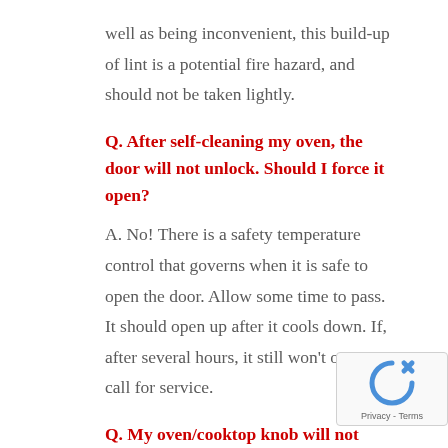well as being inconvenient, this build-up of lint is a potential fire hazard, and should not be taken lightly.
Q. After self-cleaning my oven, the door will not unlock. Should I force it open?
A. No! There is a safety temperature control that governs when it is safe to open the door. Allow some time to pass. It should open up after it cools down. If, after several hours, it still won't open, call for service.
Q. My oven/cooktop knob will not turn. Should I force it?
A. No. If gas burner valves start “grinding,” turning